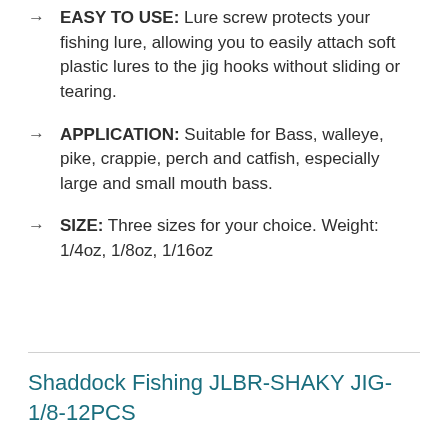EASY TO USE: Lure screw protects your fishing lure, allowing you to easily attach soft plastic lures to the jig hooks without sliding or tearing.
APPLICATION: Suitable for Bass, walleye, pike, crappie, perch and catfish, especially large and small mouth bass.
SIZE: Three sizes for your choice. Weight: 1/4oz, 1/8oz, 1/16oz
Shaddock Fishing JLBR-SHAKY JIG-1/8-12PCS